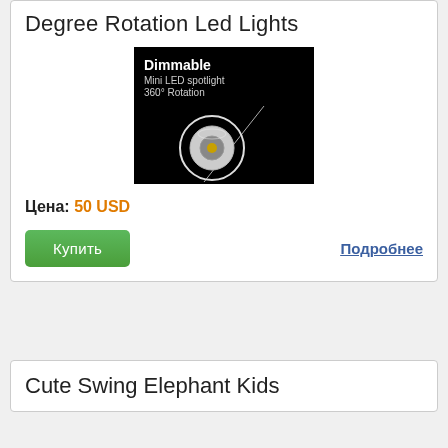Degree Rotation Led Lights
[Figure (photo): Product photo of a Dimmable Mini LED spotlight 360° Rotation on black background]
Цена: 50 USD
Купить
Подробнее
Cute Swing Elephant Kids